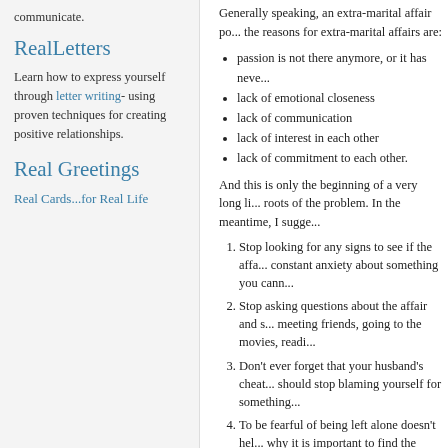communicate.
RealLetters
Learn how to express yourself through letter writing- using proven techniques for creating positive relationships.
Real Greetings
Real Cards...for Real Life
Generally speaking, an extra-marital affair po... the reasons for extra-marital affairs are:
passion is not there anymore, or it has neve...
lack of emotional closeness
lack of communication
lack of interest in each other
lack of commitment to each other.
And this is only the beginning of a very long li... roots of the problem. In the meantime, I sugge...
Stop looking for any signs to see if the affa... constant anxiety about something you cann...
Stop asking questions about the affair and s... meeting friends, going to the movies, readi...
Don't ever forget that your husband's cheat... should stop blaming yourself for something...
To be fearful of being left alone doesn't hel... why it is important to find the reasons for y...
Is it because you love him and don't wa...
Is it because you don't believe you'll m...
Is it because divorce frightens you?